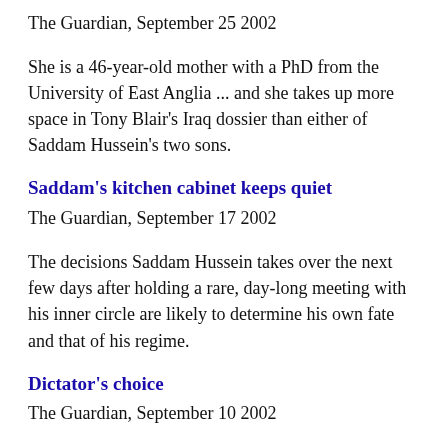The Guardian, September 25 2002
She is a 46-year-old mother with a PhD from the University of East Anglia ... and she takes up more space in Tony Blair's Iraq dossier than either of Saddam Hussein's two sons.
Saddam's kitchen cabinet keeps quiet
The Guardian, September 17 2002
The decisions Saddam Hussein takes over the next few days after holding a rare, day-long meeting with his inner circle are likely to determine his own fate and that of his regime.
Dictator's choice
The Guardian, September 10 2002
George Bush has the power to make war but Saddam Hussein has the power to salvage peace. No matter how much countries and individuals protest or question the